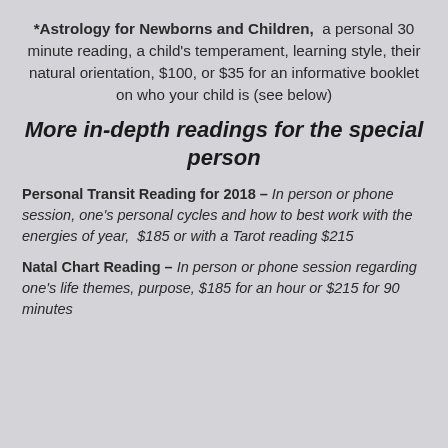*Astrology for Newborns and Children, a personal 30 minute reading, a child's temperament, learning style, their natural orientation, $100, or $35 for an informative booklet on who your child is (see below)
More in-depth readings for the special person
Personal Transit Reading for 2018 – In person or phone session, one's personal cycles and how to best work with the energies of year, $185 or with a Tarot reading $215
Natal Chart Reading – In person or phone session regarding one's life themes, purpose, $185 for an hour or $215 for 90 minutes